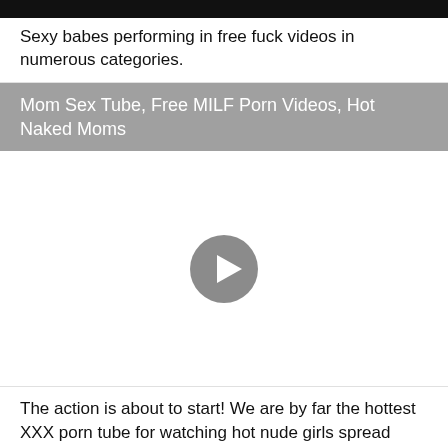[Figure (screenshot): Dark/black top image strip, partial view of a video thumbnail]
Sexy babes performing in free fuck videos in numerous categories.
Mom Sex Tube, Free MILF Porn Videos, Hot Naked Moms
[Figure (screenshot): White video player area with a grey circular play button in the center]
The action is about to start! We are by far the hottest XXX porn tube for watching hot nude girls spread their legs and get fucked.
Free Porn Videos: Hardcore Adult Sex Movies, Porno Hub Tube